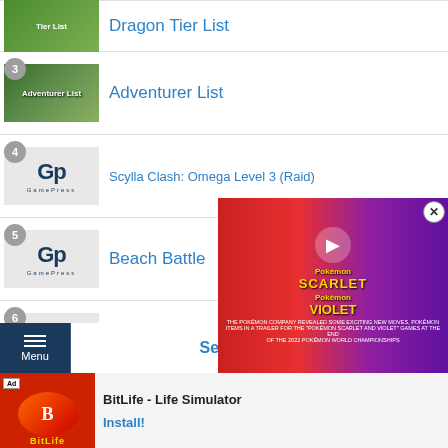Dragon Tier List (partial, item 1 cropped at top)
3 - Adventurer List
4 - Scylla Clash: Omega Level 3 (Raid)
5 - Beach Battle
6 - Staff Dojo
7 - Wyrmprint Top Pic…
See A…
[Figure (screenshot): Pokemon Scarlet and Violet video overlay advertisement with play button]
[Figure (advertisement): BitLife - Life Simulator app install ad]